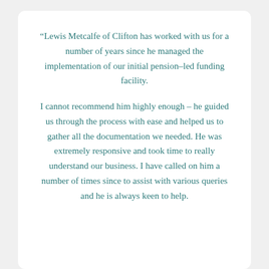“Lewis Metcalfe of Clifton has worked with us for a number of years since he managed the implementation of our initial pension–led funding facility.
I cannot recommend him highly enough – he guided us through the process with ease and helped us to gather all the documentation we needed. He was extremely responsive and took time to really understand our business. I have called on him a number of times since to assist with various queries and he is always keen to help.